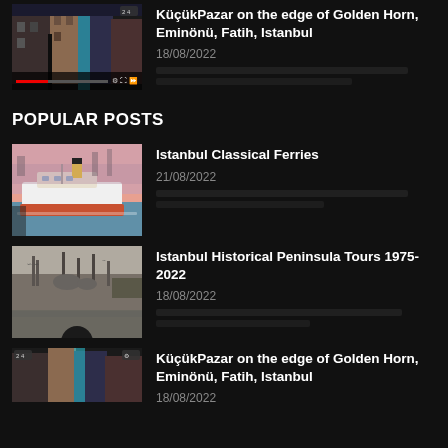[Figure (screenshot): Thumbnail of Istanbul street scene video with progress bar overlay]
KüçükPazar on the edge of Golden Horn, Eminönü, Fatih, Istanbul
18/08/2022
POPULAR POSTS
[Figure (photo): Istanbul Classical Ferries - ferry boat on water with pink/salmon background]
Istanbul Classical Ferries
21/08/2022
[Figure (photo): Istanbul Historical Peninsula - black and white photo of city skyline from water]
Istanbul Historical Peninsula Tours 1975-2022
18/08/2022
[Figure (screenshot): KüçükPazar street scene thumbnail]
KüçükPazar on the edge of Golden Horn, Eminönü, Fatih, Istanbul
18/08/2022